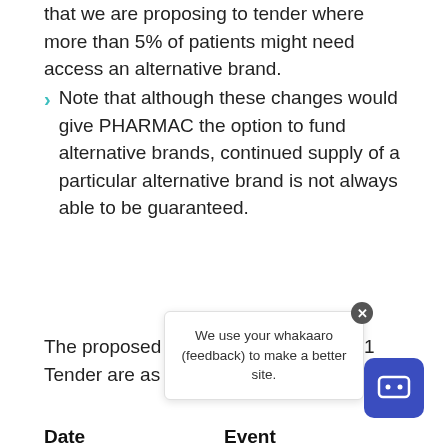that we are proposing to tender where more than 5% of patients might need access an alternative brand.
Note that although these changes would give PHARMAC the option to fund alternative brands, continued supply of a particular alternative brand is not always able to be guaranteed.
Key Dates and Timeframes for the 2020/21 Tender:
The proposed timelines for the 2020/21 Tender are as follows:
We use your whakaaro (feedback) to make a better site.
| Date | Event |
| --- | --- |